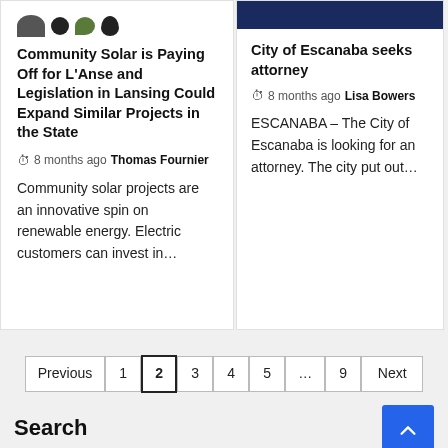Community Solar is Paying Off for L'Anse and Legislation in Lansing Could Expand Similar Projects in the State
8 months ago  Thomas Fournier
Community solar projects are an innovative spin on renewable energy. Electric customers can invest in...
[Figure (photo): Dark blue image header for news card]
City of Escanaba seeks attorney
8 months ago  Lisa Bowers
ESCANABA – The City of Escanaba is looking for an attorney. The city put out...
Previous  1  2  3  4  5  ...  9  Next
Search